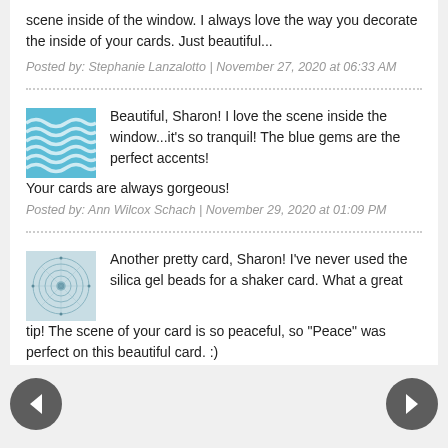scene inside of the window. I always love the way you decorate the inside of your cards. Just beautiful...
Posted by: Stephanie Lanzalotto | November 27, 2020 at 06:33 AM
Beautiful, Sharon! I love the scene inside the window...it's so tranquil! The blue gems are the perfect accents! Your cards are always gorgeous!
Posted by: Ann Wilcox Schach | November 29, 2020 at 01:09 PM
Another pretty card, Sharon! I've never used the silica gel beads for a shaker card. What a great tip! The scene of your card is so peaceful, so "Peace" was perfect on this beautiful card. :)